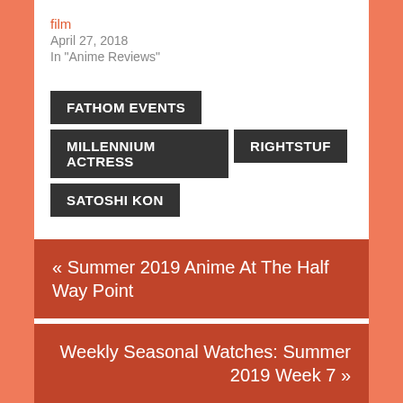film
April 27, 2018
In "Anime Reviews"
FATHOM EVENTS
MILLENNIUM ACTRESS
RIGHTSTUF
SATOSHI KON
« Summer 2019 Anime At The Half Way Point
Weekly Seasonal Watches: Summer 2019 Week 7 »